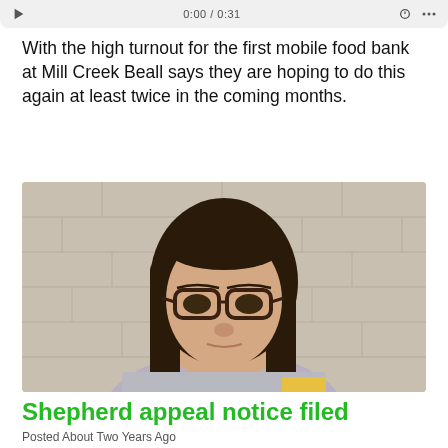0:00 / 0:31
With the high turnout for the first mobile food bank at Mill Creek Beall says they are hoping to do this again at least twice in the coming months.
[Figure (photo): Mugshot-style photo of a young woman with long dark hair and glasses, wearing a light gray top, standing against a beige/tan block wall]
Shepherd appeal notice filed
Posted About Two Years Ago